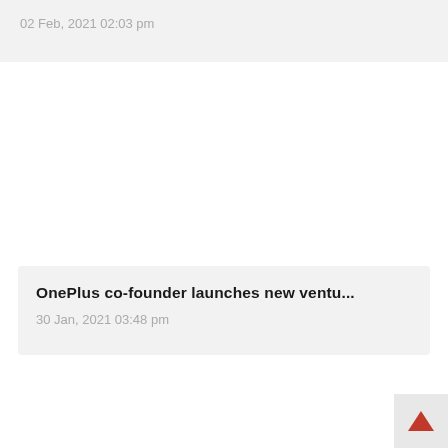02 Feb, 2021 02:03 pm
OnePlus co-founder launches new ventu...
30 Jan, 2021 03:48 pm